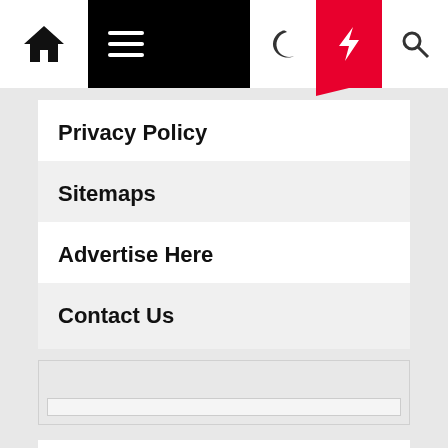Navigation bar with home, menu, moon, lightning, search icons
Privacy Policy
Sitemaps
Advertise Here
Contact Us
[Figure (other): Search input box area]
ADS
Home Guide